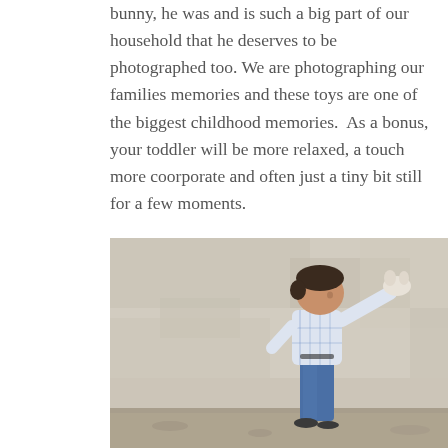bunny, he was and is such a big part of our household that he deserves to be photographed too. We are photographing our families memories and these toys are one of the biggest childhood memories.  As a bonus, your toddler will be more relaxed, a touch more coorporate and often just a tiny bit still for a few moments.
[Figure (photo): A toddler boy wearing a plaid shirt and blue jeans, walking or running forward with arms outstretched, holding a small stuffed animal. Background is a textured stone/concrete wall, with a sandy/gravel ground. Photo is bright and airy with soft tones.]